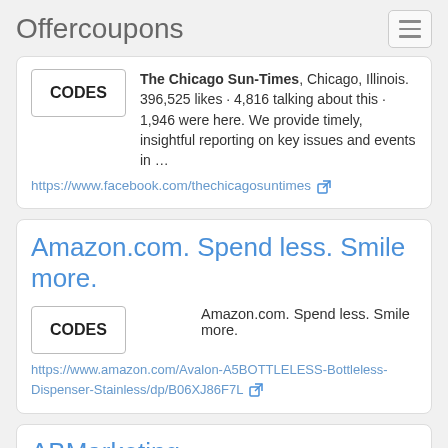Offercoupons
The Chicago Sun-Times, Chicago, Illinois. 396,525 likes · 4,816 talking about this · 1,946 were here. We provide timely, insightful reporting on key issues and events in …
https://www.facebook.com/thechicagosuntimes
Amazon.com. Spend less. Smile more.
Amazon.com. Spend less. Smile more.
https://www.amazon.com/Avalon-A5BOTTLELESS-Bottleless-Dispenser-Stainless/dp/B06XJ86F7L
ABMarketing